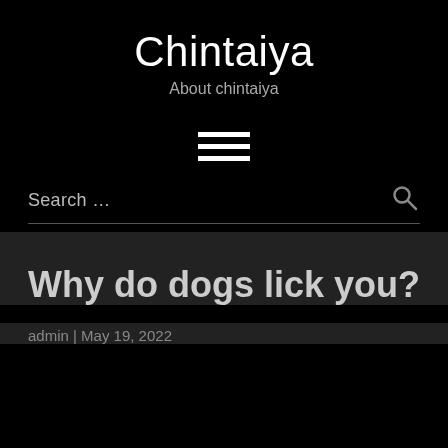Chintaiya
About chintaiya
[Figure (other): Hamburger menu icon with three horizontal white bars]
Search …
Why do dogs lick you?
admin | May 19, 2022